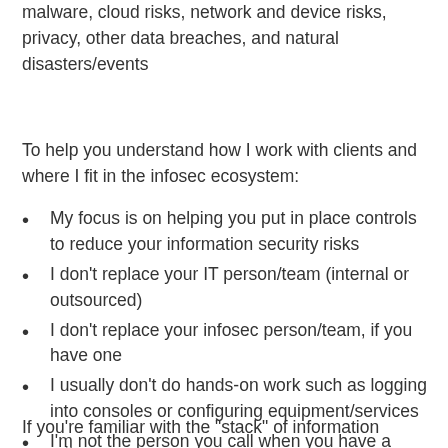malware, cloud risks, network and device risks, privacy, other data breaches, and natural disasters/events
To help you understand how I work with clients and where I fit in the infosec ecosystem:
My focus is on helping you put in place controls to reduce your information security risks
I don't replace your IT person/team (internal or outsourced)
I don't replace your infosec person/team, if you have one
I usually don't do hands-on work such as logging into consoles or configuring equipment/services
I'm not the person you call when you have a security incident, but I help you identify -- ahead of time -- who that is
If you're familiar with the "stack" of information security, my